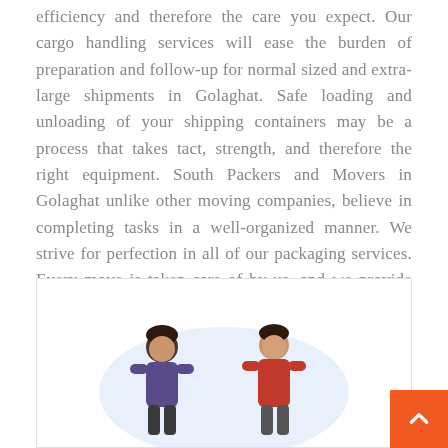efficiency and therefore the care you expect. Our cargo handling services will ease the burden of preparation and follow-up for normal sized and extra-large shipments in Golaghat. Safe loading and unloading of your shipping containers may be a process that takes tact, strength, and therefore the right equipment. South Packers and Movers in Golaghat unlike other moving companies, believe in completing tasks in a well-organized manner. We strive for perfection in all of our packaging services. Every move is taken care of by us, and we provide quick and dependable packing services.
[Figure (illustration): An illustration showing two people (movers/packers) with a light blue oval background behind them, inside a bordered white box.]